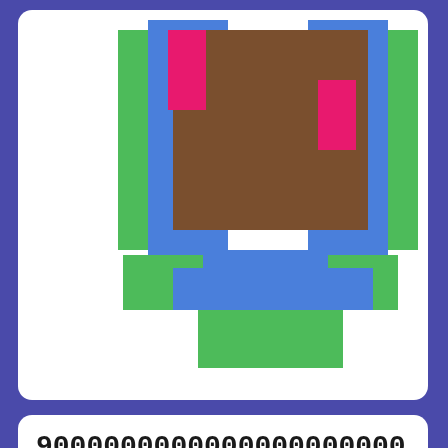[Figure (illustration): Pixel art Minecraft item (resembling a character/item with brown, blue, green, and pink pixel blocks on white background) inside a white rounded card on purple background]
9000000000000000000000000000000000000000000000000000000000000
Minecraft Item for Minecraft Java Edition | by perkydye163
9000000000000000000000000000000000000000000000000000000000000000000
was remixed from Bottle o' Enchanting.